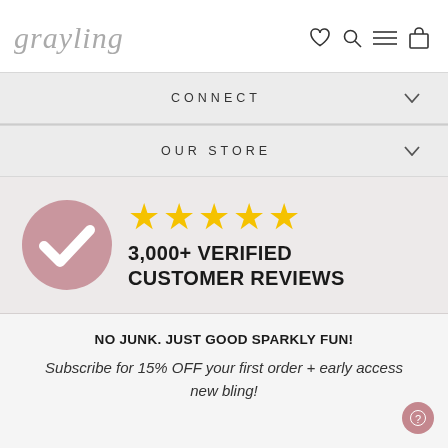grayling
CONNECT
OUR STORE
[Figure (infographic): Pink circle with white checkmark icon alongside five gold stars and text '3,000+ VERIFIED CUSTOMER REVIEWS']
NO JUNK. JUST GOOD SPARKLY FUN!
Subscribe for 15% OFF your first order + early access new bling!